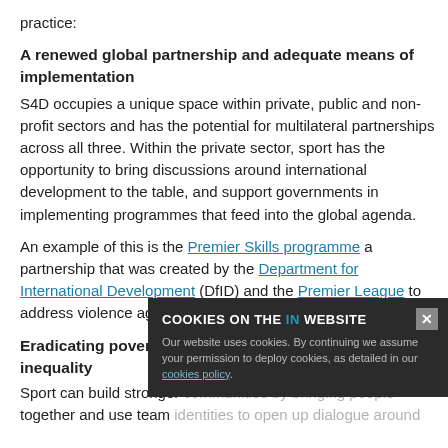practice:
A renewed global partnership and adequate means of implementation
S4D occupies a unique space within private, public and non-profit sectors and has the potential for multilateral partnerships across all three. Within the private sector, sport has the opportunity to bring discussions around international development to the table, and support governments in implementing programmes that feed into the global agenda.
An example of this is the Premier Skills programme a partnership that was created by the Department for International Development (DfID) and the Premier League to address violence against women in Africa through football.
Eradicating poverty and discrimination and addressing inequality
Sport can build stronger communities by bringing people together and use team identities to open up dialogue around